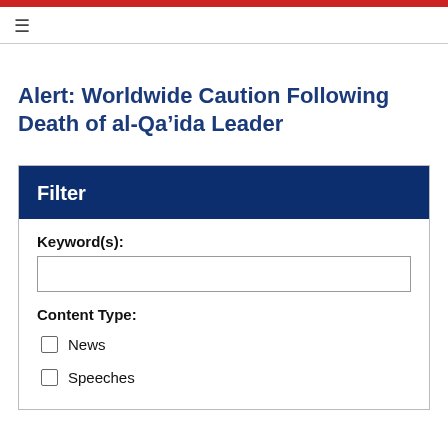Alert: Worldwide Caution Following Death of al-Qa’ida Leader
Filter
Keyword(s):
Content Type:
News
Speeches